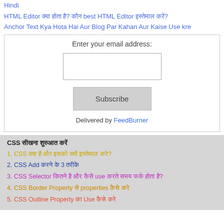Hindi
HTML Editor क्या होता है? कौन best HTML Editor इस्तेमाल करें?
Anchor Text Kya Hota Hai Aur Blog Par Kahan Aur Kaise Use kre
[Figure (other): Email subscription widget with input field, Subscribe button, and 'Delivered by FeedBurner' text]
CSS सीखना शुरुआत करें
1. CSS क्या है और इसको क्यों इस्तेमाल करे?
2. CSS Add करने के 3 तरीके
3. CSS Selector कितने है और कैसे use करते समय फर्क होता है?
4. CSS Border Property से properties कैसे करे
5. CSS Outline Property का Use कैसे करे